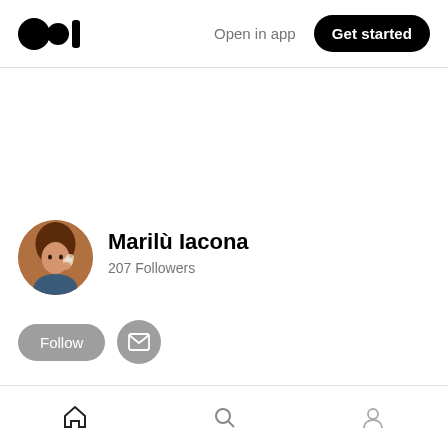Medium logo | Open in app | Get started
[Figure (photo): Profile avatar of Marilù Iacona — a woman holding a flower]
Marilù Iacona
207 Followers
Follow | Message icon button
Home   Lists
Home icon | Search icon | Profile icon